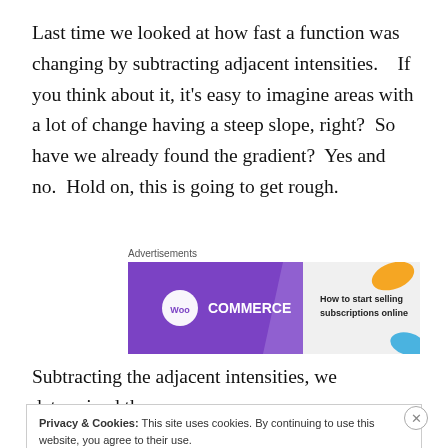Last time we looked at how fast a function was changing by subtracting adjacent intensities.    If you think about it, it's easy to imagine areas with a lot of change having a steep slope, right?  So have we already found the gradient?  Yes and no.  Hold on, this is going to get rough.
[Figure (other): WooCommerce advertisement banner: purple background with WooCommerce logo, green arrow, text 'How to start selling subscriptions online', decorative colored shapes. Labeled 'Advertisements' above.]
Subtracting the adjacent intensities, we determined the
Privacy & Cookies: This site uses cookies. By continuing to use this website, you agree to their use.
To find out more, including how to control cookies, see here: Cookie Policy